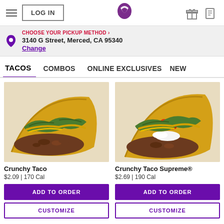LOG IN | Taco Bell Logo | Gift icon | Coupon icon
CHOOSE YOUR PICKUP METHOD >
3140 G Street, Merced, CA 95340
Change
TACOS   COMBOS   ONLINE EXCLUSIVES   NEW
[Figure (photo): Photo of a Crunchy Taco with ground beef, lettuce, and shredded cheese in a crispy corn shell]
Crunchy Taco
$2.09 | 170 Cal
[Figure (photo): Photo of a Crunchy Taco Supreme with ground beef, lettuce, cheese, tomatoes, and sour cream in a crispy corn shell]
Crunchy Taco Supreme®
$2.69 | 190 Cal